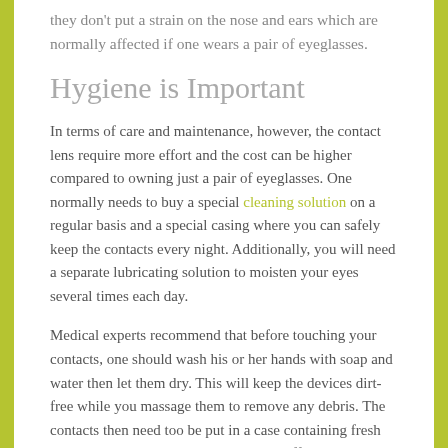they don't put a strain on the nose and ears which are normally affected if one wears a pair of eyeglasses.
Hygiene is Important
In terms of care and maintenance, however, the contact lens require more effort and the cost can be higher compared to owning just a pair of eyeglasses. One normally needs to buy a special cleaning solution on a regular basis and a special casing where you can safely keep the contacts every night. Additionally, you will need a separate lubricating solution to moisten your eyes several times each day.
Medical experts recommend that before touching your contacts, one should wash his or her hands with soap and water then let them dry. This will keep the devices dirt-free while you massage them to remove any debris. The contacts then need too be put in a case containing fresh solution with its lid on while you doze off during the night.